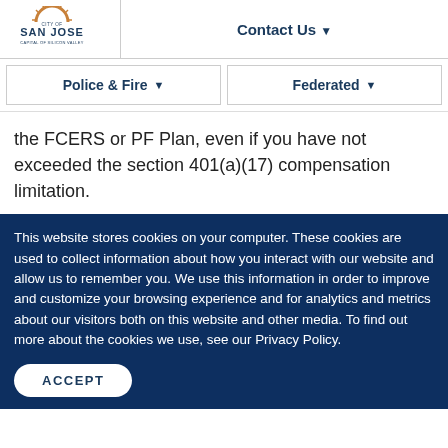[Figure (logo): City of San Jose logo with sunburst and text 'SAN JOSE CAPITAL OF SILICON VALLEY']
Contact Us ▾
Police & Fire ▾   Federated ▾
the FCERS or PF Plan, even if you have not exceeded the section 401(a)(17) compensation limitation.
This website stores cookies on your computer. These cookies are used to collect information about how you interact with our website and allow us to remember you. We use this information in order to improve and customize your browsing experience and for analytics and metrics about our visitors both on this website and other media. To find out more about the cookies we use, see our Privacy Policy.
ACCEPT